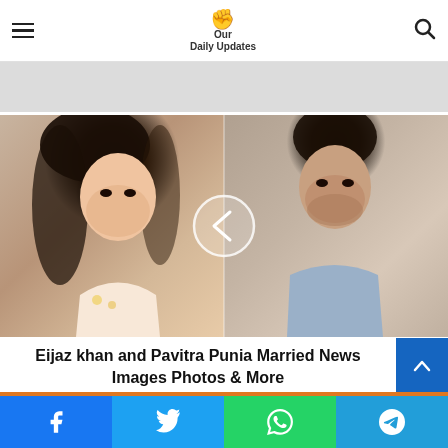Our Daily Updates
[Figure (photo): Split photo: woman with long dark hair on left side, man in grey shirt on right side, with a left-arrow navigation button in the center]
Eijaz khan and Pavitra Punia Married News Images Photos & More
Facebook | Twitter | WhatsApp | Telegram